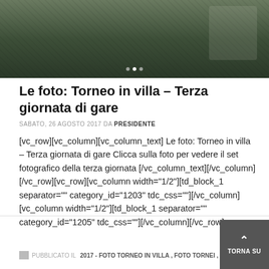[Figure (photo): A dark photo showing people at what appears to be an outdoor sporting event with netting visible]
Le foto: Torneo in villa – Terza giornata di gare
SABATO, 26 AGOSTO 2017 DA PRESIDENTE
[vc_row][vc_column][vc_column_text] Le foto: Torneo in villa – Terza giornata di gare Clicca sulla foto per vedere il set fotografico della terza giornata [/vc_column_text][/vc_column][/vc_row][vc_row][vc_column width="1/2"][td_block_1 separator="" category_id="1203" tdc_css=""][/vc_column][vc_column width="1/2"][td_block_1 separator="" category_id="1205" tdc_css=""][/vc_column][/vc_row]
PUBBLICATO IL 2017 - FOTO TORNEO IN VILLA , FOTO TORNEI , LE FOTO